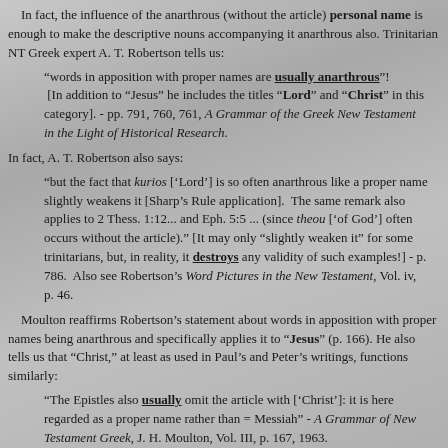In fact, the influence of the anarthrous (without the article) personal name is enough to make the descriptive nouns accompanying it anarthrous also. Trinitarian NT Greek expert A. T. Robertson tells us:
“words in apposition with proper names are usually anarthrous”! [In addition to “Jesus” he includes the titles “Lord” and “Christ” in this category]. - pp. 791, 760, 761, A Grammar of the Greek New Testament in the Light of Historical Research.
In fact, A. T. Robertson also says:
“but the fact that kurios [‘Lord’] is so often anarthrous like a proper name slightly weakens it [Sharp’s Rule application]. The same remark also applies to 2 Thess. 1:12... and Eph. 5:5 ... (since theou [‘of God’] often occurs without the article).” [It may only “slightly weaken it” for some trinitarians, but, in reality, it destroys any validity of such examples!] - p. 786. Also see Robertson’s Word Pictures in the New Testament, Vol. iv, p. 46.
Moulton reaffirms Robertson’s statement about words in apposition with proper names being anarthrous and specifically applies it to “Jesus” (p. 166). He also tells us that “Christ,” at least as used in Paul’s and Peter’s writings, functions similarly:
“The Epistles also usually omit the article with [‘Christ’]: it is here regarded as a proper name rather than = Messiah” - A Grammar of New Testament Greek, J. H. Moulton, Vol. III, p. 167, 1963.